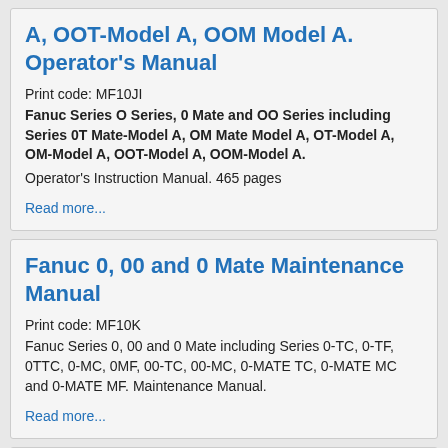A, OOT-Model A, OOM Model A. Operator's Manual
Print code: MF10JI
Fanuc Series O Series, 0 Mate and OO Series including Series 0T Mate-Model A, OM Mate Model A, OT-Model A, OM-Model A, OOT-Model A, OOM-Model A.
Operator's Instruction Manual. 465 pages
Read more...
Fanuc 0, 00 and 0 Mate Maintenance Manual
Print code: MF10K
Fanuc Series 0, 00 and 0 Mate including Series 0-TC, 0-TF, 0TTC, 0-MC, 0MF, 00-TC, 00-MC, 0-MATE TC, 0-MATE MC and 0-MATE MF. Maintenance Manual.
Read more...